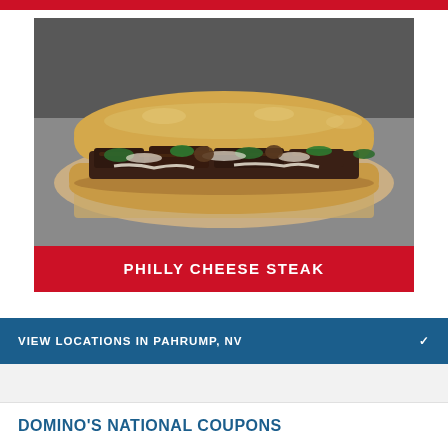[Figure (photo): Photo of a Philly Cheese Steak sandwich on parchment paper, with green peppers, mushrooms, onions, and beef on a hoagie roll, on a stainless steel surface.]
PHILLY CHEESE STEAK
VIEW LOCATIONS IN PAHRUMP, NV
DOMINO'S NATIONAL COUPONS